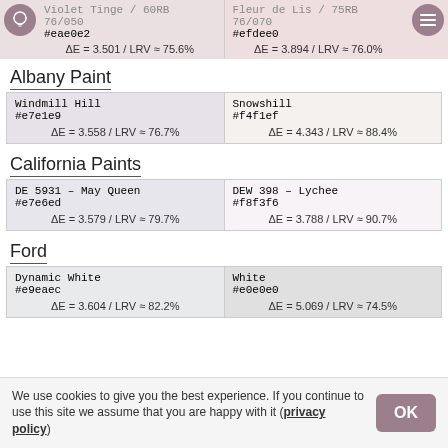Violet Tinge / 60RB 76/050  |  Fleur de Lis / 75RB 76/070
#eae0e2 | #efdee0
ΔE = 3.501 / LRV ≈ 75.6%  |  ΔE = 3.894 / LRV ≈ 76.0%
Albany Paint
| Windmill Hill | Snowshill |
| --- | --- |
| #e7e1e9 | #f4f1ef |
| ΔE = 3.558 / LRV ≈ 76.7% | ΔE = 4.343 / LRV ≈ 88.4% |
California Paints
| DE 5931 – May Queen | DEW 398 – Lychee |
| --- | --- |
| #e7e6ed | #f8f3f6 |
| ΔE = 3.579 / LRV ≈ 79.7% | ΔE = 3.788 / LRV ≈ 90.7% |
Ford
| Dynamic White | White |
| --- | --- |
| #e9eaec | #e0e0e0 |
| ΔE = 3.604 / LRV ≈ 82.2% | ΔE = 5.069 / LRV ≈ 74.5% |
We use cookies to give you the best experience. If you continue to use this site we assume that you are happy with it (privacy policy)